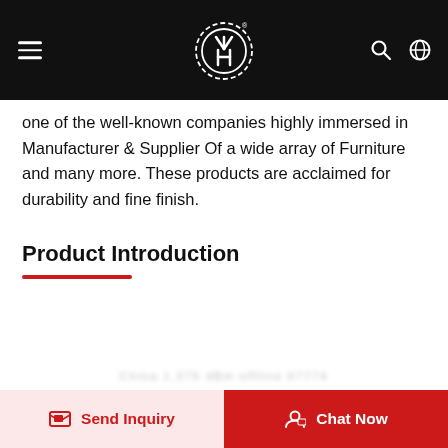[Navigation header with logo and icons]
one of the well-known companies highly immersed in Manufacturer & Supplier Of a wide array of Furniture and many more. These products are acclaimed for durability and fine finish.
Product Introduction
Send Inquiry | Chat Now